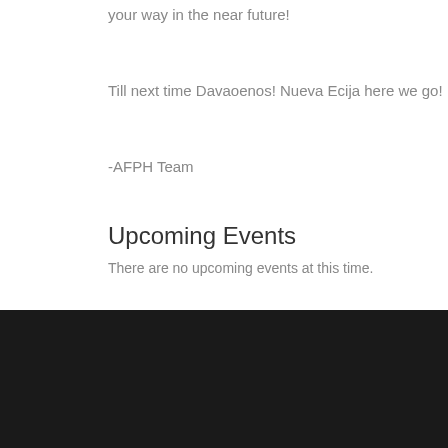your way in the near future!
Till next time Davaoenos! Nueva Ecija here we go!
-AFPH Team
Upcoming Events
There are no upcoming events at this time.
[Figure (logo): PlayPark E-Sports logo in white and blue text on black background]